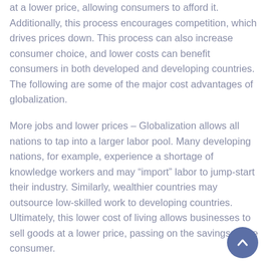at a lower price, allowing consumers to afford it. Additionally, this process encourages competition, which drives prices down. This process can also increase consumer choice, and lower costs can benefit consumers in both developed and developing countries. The following are some of the major cost advantages of globalization.
More jobs and lower prices – Globalization allows all nations to tap into a larger labor pool. Many developing nations, for example, experience a shortage of knowledge workers and may “import” labor to jump-start their industry. Similarly, wealthier countries may outsource low-skilled work to developing countries. Ultimately, this lower cost of living allows businesses to sell goods at a lower price, passing on the savings to the consumer.